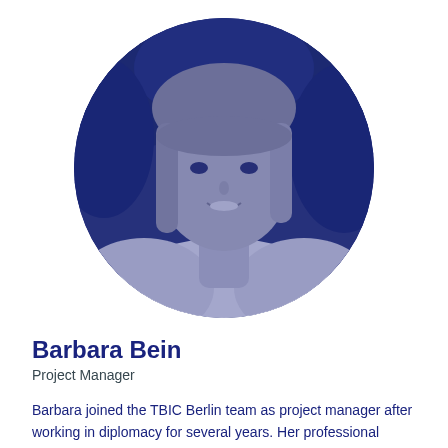[Figure (photo): Circular cropped black-and-white portrait photo of Barbara Bein, a woman with straight hair and bangs, smiling, wearing a white top, with a blue-tinted overlay, set against a blurred outdoor background.]
Barbara Bein
Project Manager
Barbara joined the TBIC Berlin team as project manager after working in diplomacy for several years. Her professional experience includes managing political and economic aspects